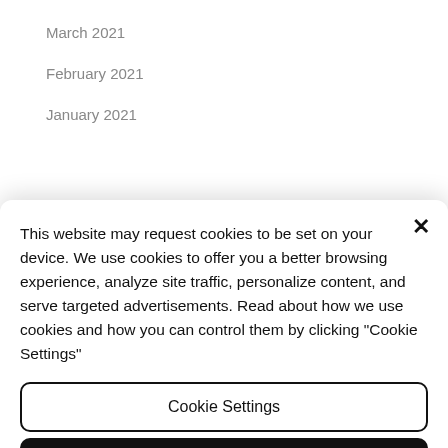March 2021
February 2021
January 2021
This website may request cookies to be set on your device. We use cookies to offer you a better browsing experience, analyze site traffic, personalize content, and serve targeted advertisements. Read about how we use cookies and how you can control them by clicking "Cookie Settings"
Cookie Settings
Accept all
April 2019